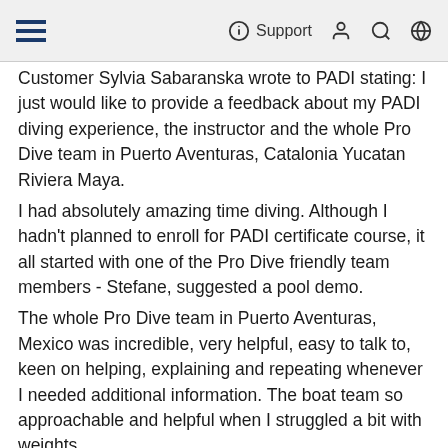Support
Customer Sylvia Sabaranska wrote to PADI stating: I just would like to provide a feedback about my PADI diving experience, the instructor and the whole Pro Dive team in Puerto Aventuras, Catalonia Yucatan Riviera Maya. I had absolutely amazing time diving. Although I hadn't planned to enroll for PADI certificate course, it all started with one of the Pro Dive friendly team members - Stefane, suggested a pool demo. The whole Pro Dive team in Puerto Aventuras, Mexico was incredible, very helpful, easy to talk to, keen on helping, explaining and repeating whenever I needed additional information. The boat team so approachable and helpful when I struggled a bit with weights and cylinder when climbing back. Also, it really made the difference that the equipment I was using was relatively new and reliable. Tom (the instructor) made an effort to get me the most appropriate wet suit and mask. He provided great, detailed briefings every time - both